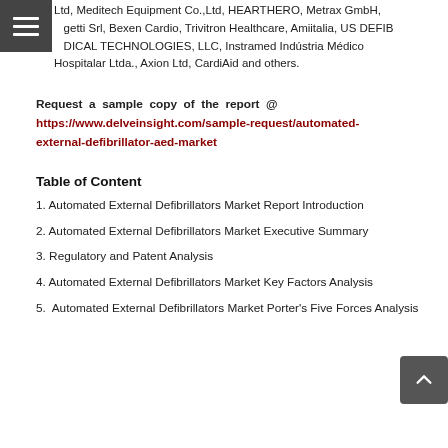Ltd, Meditech Equipment Co.,Ltd, HEARTHERO, Metrax GmbH, Srl, Bexen Cardio, Trivitron Healthcare, Amiitalia, US DEFIB ICAL TECHNOLOGIES, LLC, Instramed Indústria Médico Hospitalar Ltda., Axion Ltd, CardiAid and others.
Request a sample copy of the report @ https://www.delveinsight.com/sample-request/automated-external-defibrillator-aed-market
Table of Content
1. Automated External Defibrillators Market Report Introduction
2. Automated External Defibrillators Market Executive Summary
3. Regulatory and Patent Analysis
4. Automated External Defibrillators Market Key Factors Analysis
5. Automated External Defibrillators Market Porter's Five Forces Analysis